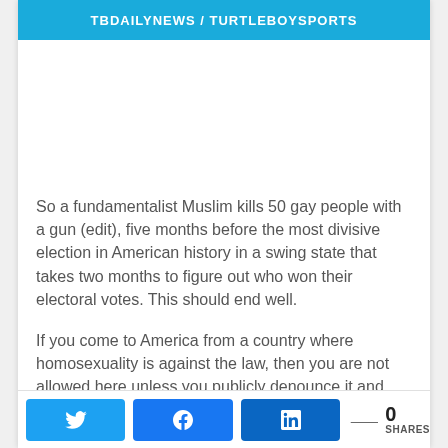TBDAILYNEWS / TURTLEBOYSPORTS
So a fundamentalist Muslim kills 50 gay people with a gun (edit), five months before the most divisive election in American history in a swing state that takes two months to figure out who won their electoral votes. This should end well.
If you come to America from a country where homosexuality is against the law, then you are not allowed here unless you publicly denounce it and
0 SHARES